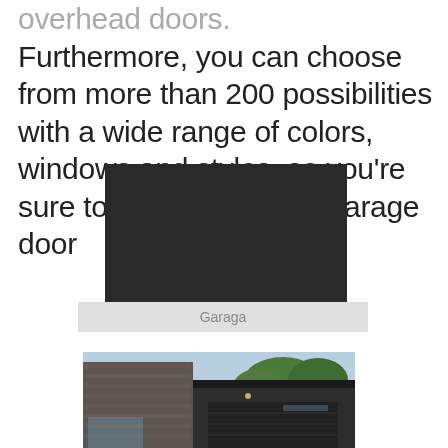overhead doors. Furthermore, you can choose from more than 200 possibilities with a wide range of colors, windows and styles, so you're sure to find your dream garage door
[Figure (screenshot): Dark/black video thumbnail placeholder for Garaga garage door content]
Garaga
[Figure (photo): Exterior photo of a modern house showing a dark garage door with wood paneling and trees in background]